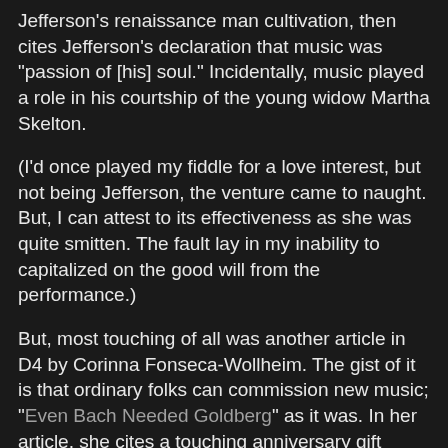Jefferson's renaissance man cultivation, then cites Jefferson's declaration that music was "passion of [his] soul." Incidentally, music played a role in his courtship of the young widow Martha Skelton.
(I'd once played my fiddle for a love interest, but not being Jefferson, the venture came to naught. But, I can attest to its effectiveness as she was quite smitten. The fault lay in my inability to capitalized on the good will from the performance.)
But, most touching of all was another article in D4 by Corinna Fonseca-Wollheim. The gist of it is that ordinary folks can commission new music; "Even Bach Needed Goldberg" as it was. In her article, she cites a touching anniversary gift made by a man in his old age through a commissioned violin sonata by Philip Glass. The connection was made through "Meet the Composer (MTC)," a non-profit that acts as a matchmaker. How wonderful, I thought, it would be if my Darden class would give a gift to the world at our graduation by commissioning a new piece. Jefferson would have approved.